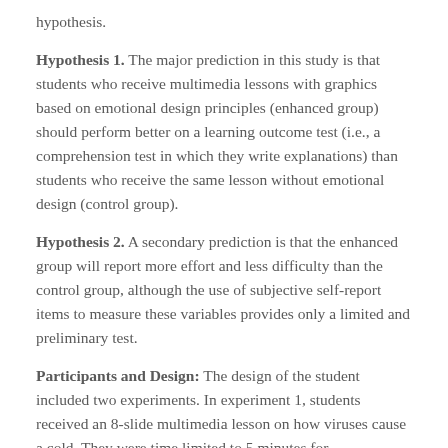hypothesis.
Hypothesis 1. The major prediction in this study is that students who receive multimedia lessons with graphics based on emotional design principles (enhanced group) should perform better on a learning outcome test (i.e., a comprehension test in which they write explanations) than students who receive the same lesson without emotional design (control group).
Hypothesis 2. A secondary prediction is that the enhanced group will report more effort and less difficulty than the control group, although the use of subjective self-report items to measure these variables provides only a limited and preliminary test.
Participants and Design: The design of the student included two experiments. In experiment 1, students received an 8-slide multimedia lesson on how viruses cause a cold. They were time limited to 5 minutes for